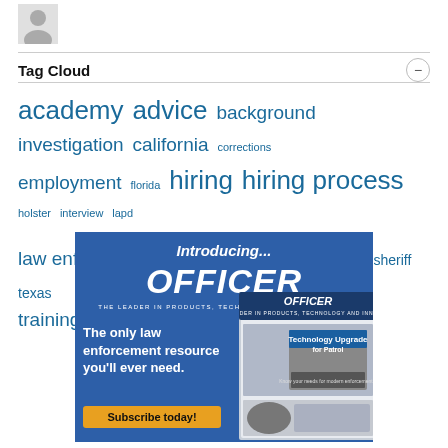[Figure (illustration): Grey silhouette avatar/profile icon]
Tag Cloud
academy advice background investigation california corrections employment florida hiring hiring process holster interview lapd law enforcement new york nypd police sheriff texas training trooper
[Figure (illustration): Advertisement banner for Officer magazine: 'Introducing... OFFICER - THE LEADER IN PRODUCTS, TECHNOLOGY AND INNOVATION. The only law enforcement resource you'll ever need. Subscribe today!' with magazine cover showing Technology Upgrade for Patrol]